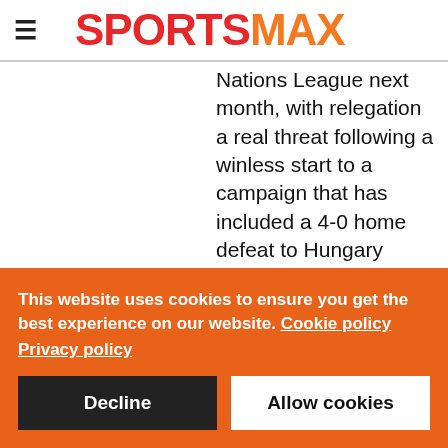SPORTSMAX
Nations League next month, with relegation a real threat following a winless start to a campaign that has included a 4-0 home defeat to Hungary
This website uses cookies to ensure you get the best experience on our website. Cookie policy Privacy policy
Decline
Allow cookies